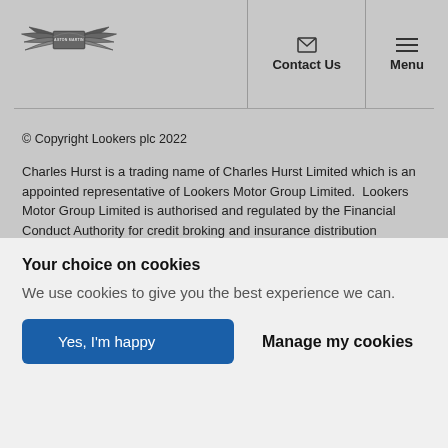[Figure (logo): Aston Martin winged logo with 'ASTON MARTIN' text in center badge]
Contact Us  Menu
© Copyright Lookers plc 2022
Charles Hurst is a trading name of Charles Hurst Limited which is an appointed representative of Lookers Motor Group Limited.  Lookers Motor Group Limited is authorised and regulated by the Financial Conduct Authority for credit broking and insurance distribution activities under reference number 309424.
Introducing you to a number of lenders means we receive a commission. Lenders pay commission at different rates either as a fixed fee or as a fixed percentage of the amount you borrow. The commission that we
Your choice on cookies
We use cookies to give you the best experience we can.
Yes, I'm happy
Manage my cookies